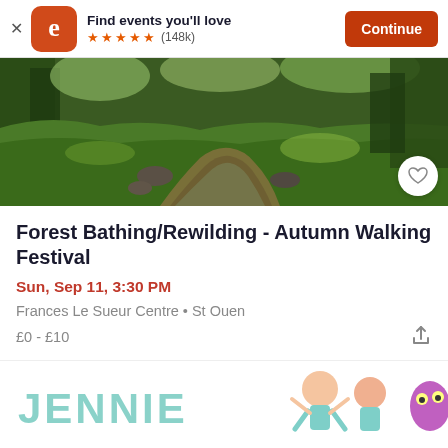[Figure (screenshot): Eventbrite app banner with logo, tagline 'Find events you'll love', 5 orange stars rating (148k reviews), and a Continue button]
[Figure (photo): Nature photo showing a forest stream with green grass, rocks, and trees in sunlight]
Forest Bathing/Rewilding - Autumn Walking Festival
Sun, Sep 11, 3:30 PM
Frances Le Sueur Centre • St Ouen
£0 - £10
[Figure (illustration): Partial view of next event card showing 'JENNIE' text in teal handwritten style with cartoon characters]